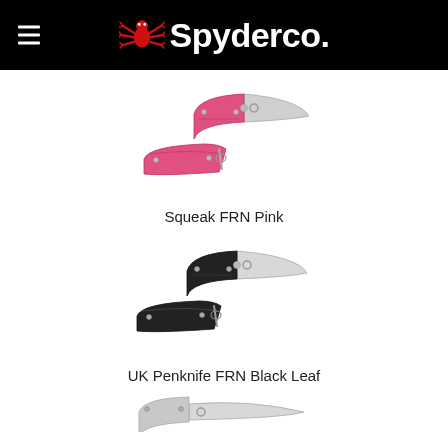[Figure (logo): Spyderco logo: red spider icon and white Spyderco wordmark on black background, with hamburger menu icon on left]
[Figure (photo): Spyderco Squeak FRN Pink folding knife shown open and closed, pink FRN handles with silver blade]
Squeak FRN Pink
[Figure (photo): Spyderco UK Penknife FRN Black Leaf folding knife shown open and closed, black FRN handles with silver blade]
UK Penknife FRN Black Leaf
[Figure (photo): Spyderco knife partially visible at bottom of page, silver handles]